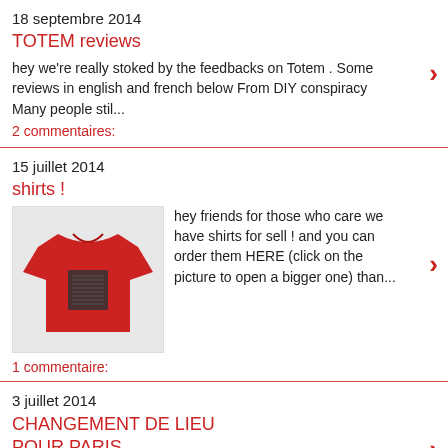18 septembre 2014
TOTEM reviews
hey we're really stoked by the feedbacks on Totem . Some reviews in english and french below From DIY conspiracy Many people stil...
2 commentaires:
15 juillet 2014
shirts !
[Figure (photo): Red t-shirt with a dark graphic print on the chest]
hey friends for those who care we have shirts for sell ! and you can order them HERE (click on the picture to open a bigger one) than...
1 commentaire:
3 juillet 2014
CHANGEMENT DE LIEU POUR PARIS
hey Suite à un dégât des eaux à la Mecanique Ondulatoire, le concert de demain 4 juillet est déplacé au Parvis de Bagnolet!